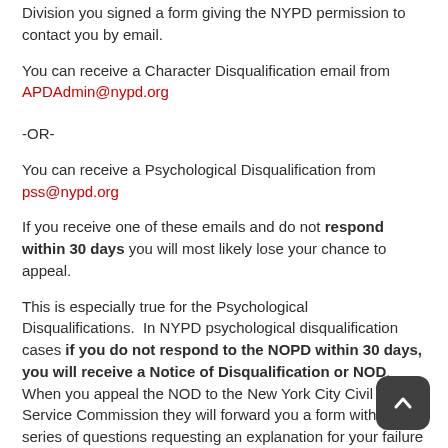Division you signed a form giving the NYPD permission to contact you by email.
You can receive a Character Disqualification email from APDAdmin@nypd.org
-OR-
You can receive a Psychological Disqualification from pss@nypd.org
If you receive one of these emails and do not respond within 30 days you will most likely lose your chance to appeal.
This is especially true for the Psychological Disqualifications. In NYPD psychological disqualification cases if you do not respond to the NOPD within 30 days, you will receive a Notice of Disqualification or NOD. When you appeal the NOD to the New York City Civil Service Commission they will forward you a form with a series of questions requesting an explanation for your failure to respond